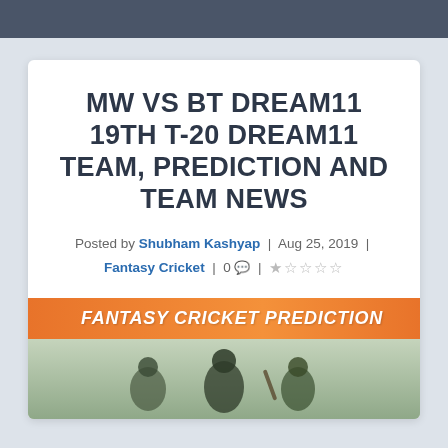MW VS BT DREAM11 19TH T-20 DREAM11 TEAM, PREDICTION AND TEAM NEWS
Posted by Shubham Kashyap | Aug 25, 2019 | Fantasy Cricket | 0 💬 | ☆☆☆☆☆
[Figure (illustration): Orange banner strip with italic bold white text reading FANTASY CRICKET PREDICTION, followed by a photo of cricket players]
[Figure (photo): Cricket players silhouettes/photo at the bottom of the page]